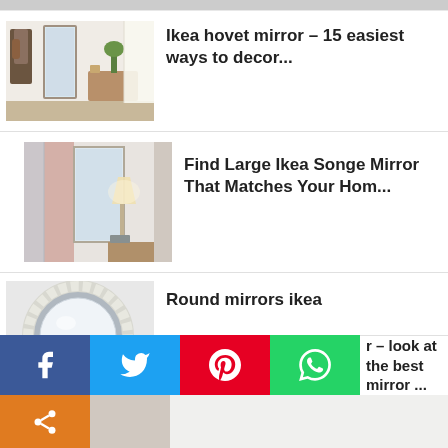Ikea hovet mirror – 15 easiest ways to decor...
Find Large Ikea Songe Mirror That Matches Your Hom...
Round mirrors ikea
Round mirror ikea – an illusion of magic in ...
r – look at the best mirror ...